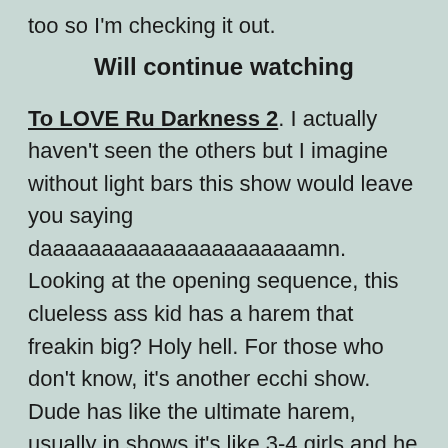too so I'm checking it out.
Will continue watching
To LOVE Ru Darkness 2. I actually haven't seen the others but I imagine without light bars this show would leave you saying daaaaaaaaaaaaaaaaaaaaaamn. Looking at the opening sequence, this clueless ass kid has a harem that freakin big? Holy hell. For those who don't know, it's another ecchi show. Dude has like the ultimate harem, usually in shows it's like 3-4 girls and he has like 10. But it really is a slice of life show with more panties